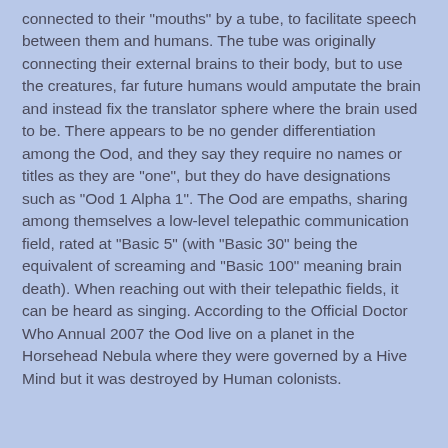connected to their "mouths" by a tube, to facilitate speech between them and humans. The tube was originally connecting their external brains to their body, but to use the creatures, far future humans would amputate the brain and instead fix the translator sphere where the brain used to be. There appears to be no gender differentiation among the Ood, and they say they require no names or titles as they are "one", but they do have designations such as "Ood 1 Alpha 1". The Ood are empaths, sharing among themselves a low-level telepathic communication field, rated at "Basic 5" (with "Basic 30" being the equivalent of screaming and "Basic 100" meaning brain death). When reaching out with their telepathic fields, it can be heard as singing. According to the Official Doctor Who Annual 2007 the Ood live on a planet in the Horsehead Nebula where they were governed by a Hive Mind but it was destroyed by Human colonists.